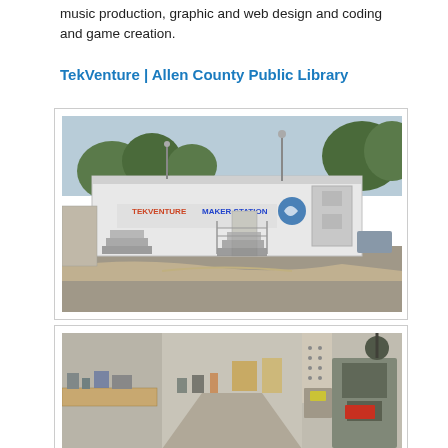music production, graphic and web design and coding and game creation.
TekVenture | Allen County Public Library
[Figure (photo): Exterior photo of a large white mobile/modular unit labeled 'TekVenture Maker Station' with stairs and entrance, parked in a parking lot with trees in the background.]
[Figure (photo): Interior photo of the TekVenture Maker Station showing workbenches, equipment, tools, and makerspace machinery along the length of the trailer.]